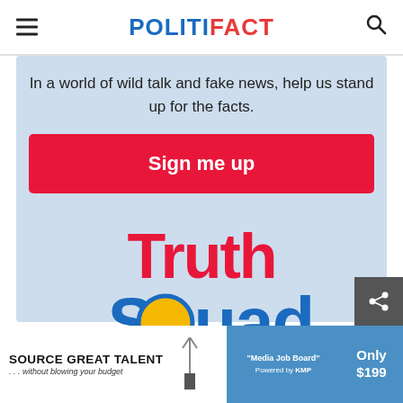POLITIFACT
In a world of wild talk and fake news, help us stand up for the facts.
[Figure (logo): Red Sign me up button]
[Figure (logo): Truth Squad logo in red and blue with yellow magnifying glass circle]
[Figure (infographic): Advertisement banner: SOURCE GREAT TALENT ...without blowing your budget - Media Job Board - Only $199]